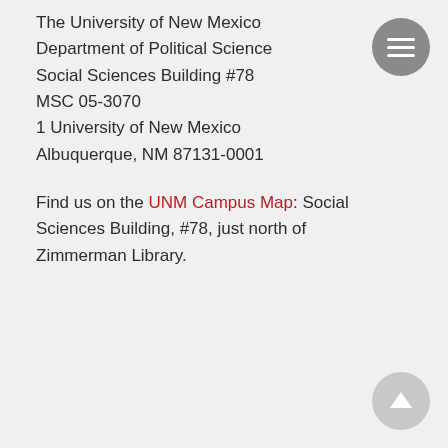The University of New Mexico
Department of Political Science
Social Sciences Building #78
MSC 05-3070
1 University of New Mexico
Albuquerque, NM 87131-0001
Find us on the UNM Campus Map: Social Sciences Building, #78, just north of Zimmerman Library.
[Figure (other): Hamburger menu button: grey circle with three white horizontal lines]
[Figure (other): Scroll-to-top button: light grey circle with white upward arrow]